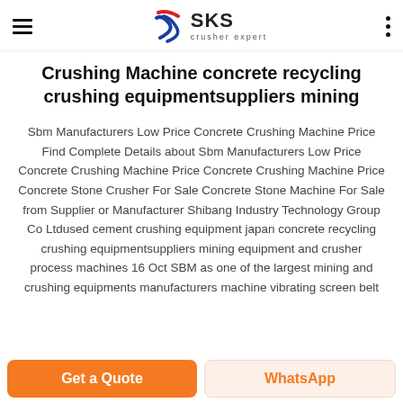SKS crusher expert
Crushing Machine concrete recycling crushing equipmentsuppliers mining
Sbm Manufacturers Low Price Concrete Crushing Machine Price Find Complete Details about Sbm Manufacturers Low Price Concrete Crushing Machine Price Concrete Crushing Machine Price Concrete Stone Crusher For Sale Concrete Stone Machine For Sale from Supplier or Manufacturer Shibang Industry Technology Group Co Ltdused cement crushing equipment japan concrete recycling crushing equipmentsuppliers mining equipment and crusher process machines 16 Oct SBM as one of the largest mining and crushing equipments manufacturers machine vibrating screen belt
Get a Quote | WhatsApp